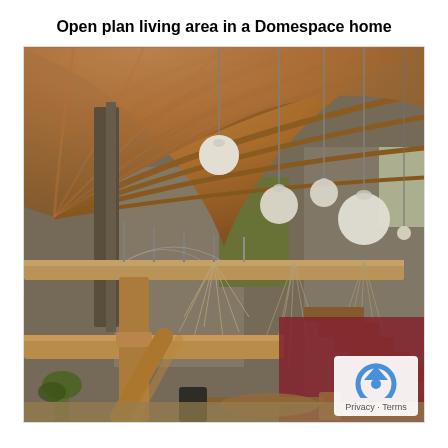Open plan living area in a Domespace home
[Figure (photo): Interior photo of an open plan living area in a Domespace home, featuring a curved wooden ceiling with radiating beams, spherical pendant lights, a mezzanine level with metal railings, exposed concrete walls, wooden structural beams, stairs, and a dining area with chairs and plants below.]
Privacy · Terms